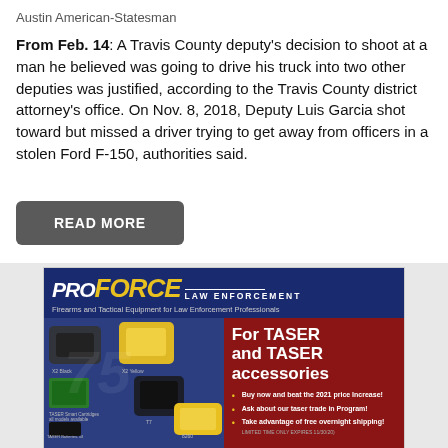Austin American-Statesman
From Feb. 14: A Travis County deputy's decision to shoot at a man he believed was going to drive his truck into two other deputies was justified, according to the Travis County district attorney's office. On Nov. 8, 2018, Deputy Luis Garcia shot toward but missed a driver trying to get away from officers in a stolen Ford F-150, authorities said.
READ MORE
[Figure (advertisement): ProForce Law Enforcement advertisement for TASER and TASER accessories. Features yellow and black TASER devices (X2 Black, X2 Yellow, T7, 8260, TASER Smart Cartridges, TASER Batteries), AXON logo. Right side on red background: 'For TASER and TASER accessories' with bullets: Buy now and beat the 2021 price increase!, Ask about our taser trade in Program!, Take advantage of free overnight shipping! (LIMITED TIME ONLY EXPIRES 11/30/20). Footer: CALL US TODAY! 800-367-5855 | CLICK HERE TO LEARN MORE | SALES@PROFORCEONLINE.COM]